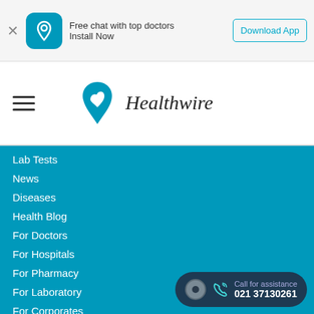[Figure (screenshot): App promotion banner with icon, text 'Free chat with top doctors / Install Now', and 'Download App' button]
[Figure (logo): Healthwire logo with teal heart/location pin icon and italic 'Healthwire' text]
Lab Tests
News
Diseases
Health Blog
For Doctors
For Hospitals
For Pharmacy
For Laboratory
For Corporates
Contact Us
Privacy Policy
Editorial Policy
Terms & Conditions
Call for assistance 021 37130261